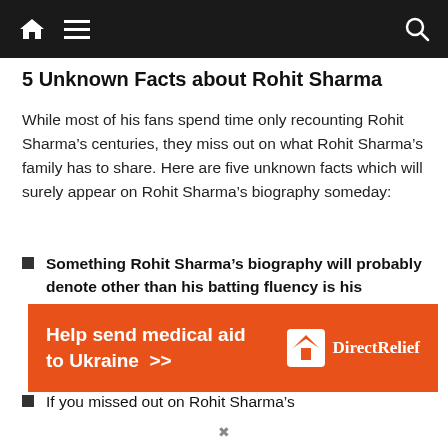Navigation bar with home, menu, and search icons
5 Unknown Facts about Rohit Sharma
While most of his fans spend time only recounting Rohit Sharma’s centuries, they miss out on what Rohit Sharma’s family has to share. Here are five unknown facts which will surely appear on Rohit Sharma’s biography someday:
Something Rohit Sharma’s biography will probably denote other than his batting fluency is his linguistic fluency. Sharma can speak in four languages – English, Hindi, Marathi, and Telugu.
If you missed out on Rohit Sharma’s
[Figure (infographic): Orange advertisement banner: Help send medical aid to Ukraine >> with Direct Relief logo and brand name on the right]